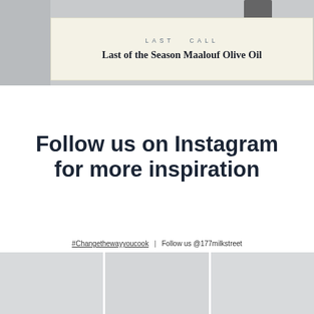[Figure (photo): Top banner area showing an olive oil bottle product photo with a cream-colored overlay box containing the text 'LAST CALL' and the title 'Last of the Season Maalouf Olive Oil']
Follow us on Instagram for more inspiration
#Changethewayyoucook  |  Follow us @177milkstreet
[Figure (photo): Three Instagram photo thumbnails arranged in a horizontal grid row at the bottom of the page]